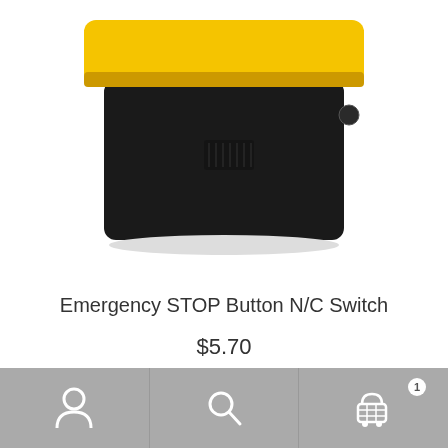[Figure (photo): Product photo of a yellow and black Emergency STOP Button N/C Switch box, showing the device from an angle, with yellow top surface and black body.]
Emergency STOP Button N/C Switch
$5.70
Add to cart
[Figure (photo): Bottom of the page shows the top portion of a second product card with a gray background and a dark circular object visible.]
Navigation bar with user icon, search icon, and cart icon with badge showing 1 item